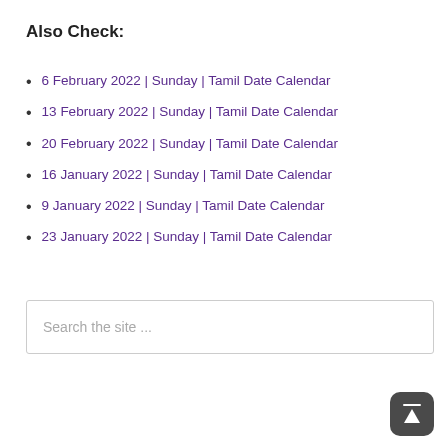Also Check:
6 February 2022 | Sunday | Tamil Date Calendar
13 February 2022 | Sunday | Tamil Date Calendar
20 February 2022 | Sunday | Tamil Date Calendar
16 January 2022 | Sunday | Tamil Date Calendar
9 January 2022 | Sunday | Tamil Date Calendar
23 January 2022 | Sunday | Tamil Date Calendar
Search the site ...